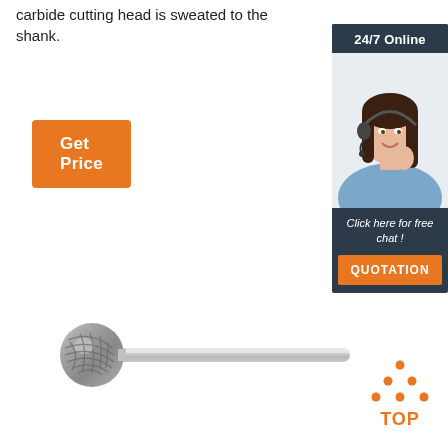carbide cutting head is sweated to the shank.
Get Price
[Figure (screenshot): Customer service representative sidebar widget with '24/7 Online' header, photo of smiling woman with headset, 'Click here for free chat!' text, and orange QUOTATION button]
[Figure (photo): Carbide rotary burr tool - spherical ball-shaped cutting head on a long cylindrical shank]
[Figure (other): Orange TOP badge/logo with dots arranged in triangle above the word TOP]